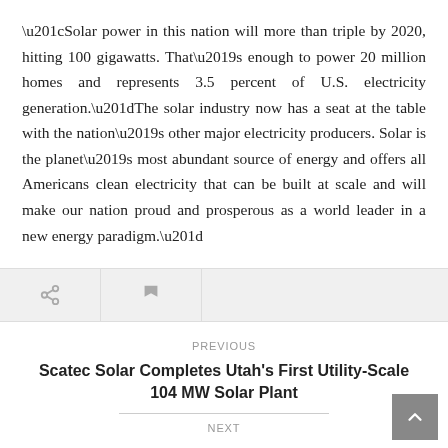“Solar power in this nation will more than triple by 2020, hitting 100 gigawatts. That’s enough to power 20 million homes and represents 3.5 percent of U.S. electricity generation.”The solar industry now has a seat at the table with the nation’s other major electricity producers. Solar is the planet’s most abundant source of energy and offers all Americans clean electricity that can be built at scale and will make our nation proud and prosperous as a world leader in a new energy paradigm.”
[Figure (other): Toolbar with share and flag icons]
PREVIOUS
Scatec Solar Completes Utah's First Utility-Scale 104 MW Solar Plant
NEXT